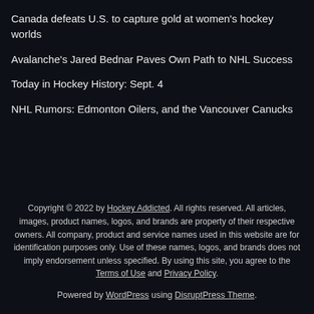Canada defeats U.S. to capture gold at women's hockey worlds
Avalanche's Jared Bednar Paves Own Path to NHL Success
Today in Hockey History: Sept. 4
NHL Rumors: Edmonton Oilers, and the Vancouver Canucks
Copyright © 2022 by Hockey Addicted. All rights reserved. All articles, images, product names, logos, and brands are property of their respective owners. All company, product and service names used in this website are for identification purposes only. Use of these names, logos, and brands does not imply endorsement unless specified. By using this site, you agree to the Terms of Use and Privacy Policy.

Powered by WordPress using DisruptPress Theme.